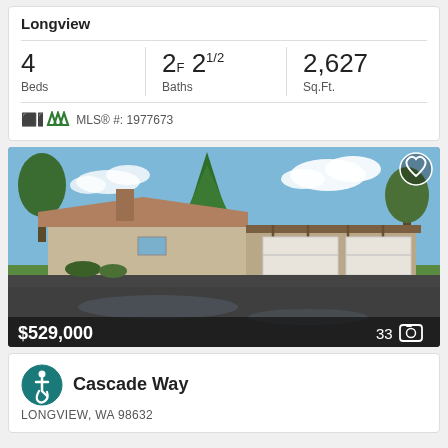Longview
| Beds | Baths | Sq.Ft. |
| --- | --- | --- |
| 4 | 2F 2½ | 2,627 |
MLS® #: 1977673
[Figure (photo): Exterior photo of a single-story ranch-style house with a large covered carport/garage, brick chimney, and wet reflective driveway. Price overlay: $529,000. Photo count: 33.]
Cascade Way
LONGVIEW, WA 98632